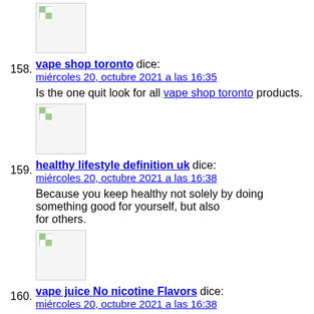158. vape shop toronto dice: miércoles 20, octubre 2021 a las 16:35
Is the one quit look for all vape shop toronto products.
159. healthy lifestyle definition uk dice: miércoles 20, octubre 2021 a las 16:38
Because you keep healthy not solely by doing something good for yourself, but also for others.
160. vape juice No nicotine Flavors dice: miércoles 20, octubre 2021 a las 16:38
Is the one stop shop for all vape juice No nicotine Flavors products.